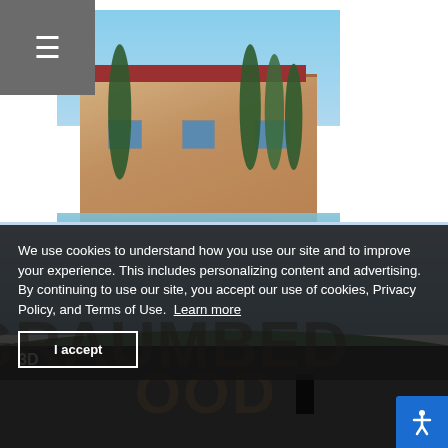[Figure (photo): Hamburger/menu icon button in gray square top left corner]
[Figure (photo): Photograph of a Mediterranean-style building with cypress trees reflected in a pool with colorful floating objects]
[Figure (photo): Panoramic background image showing sky, hills, and large partially-visible text resembling a famous landmark sign]
We use cookies to understand how you use our site and to improve your experience. This includes personalizing content and advertising.
By continuing to use our site, you accept our use of cookies, Privacy Policy, and Terms of Use. Learn more
I accept